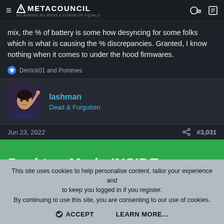METACOUNCIL — NO ADMINS NO MODS A FORUM OF EQUALS
mix, the % of battery is some how desyncing for some folks which is what is causing the % discrepancies. Granted, I know nothing when it comes to under the hood firmwares.
Derrick01 and Pommes
lashman
Dead & Forgotten
Jun 23, 2022   #3,031
[Figure (screenshot): Green banner with text 'Desktop Mode INSIDE']
This site uses cookies to help personalise content, tailor your experience and to keep you logged in if you register.
By continuing to use this site, you are consenting to our use of cookies.

ACCEPT   LEARN MORE...